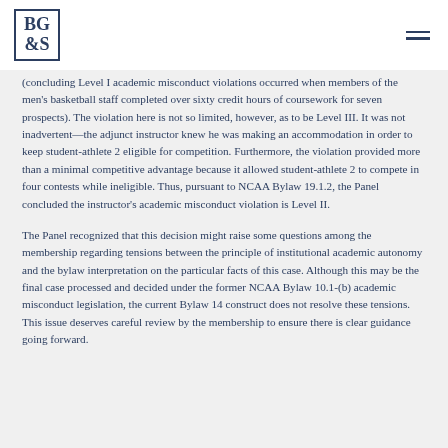BG&S
(concluding Level I academic misconduct violations occurred when members of the men's basketball staff completed over sixty credit hours of coursework for seven prospects). The violation here is not so limited, however, as to be Level III. It was not inadvertent—the adjunct instructor knew he was making an accommodation in order to keep student-athlete 2 eligible for competition. Furthermore, the violation provided more than a minimal competitive advantage because it allowed student-athlete 2 to compete in four contests while ineligible. Thus, pursuant to NCAA Bylaw 19.1.2, the Panel concluded the instructor's academic misconduct violation is Level II.
The Panel recognized that this decision might raise some questions among the membership regarding tensions between the principle of institutional academic autonomy and the bylaw interpretation on the particular facts of this case. Although this may be the final case processed and decided under the former NCAA Bylaw 10.1-(b) academic misconduct legislation, the current Bylaw 14 construct does not resolve these tensions. This issue deserves careful review by the membership to ensure there is clear guidance going forward.